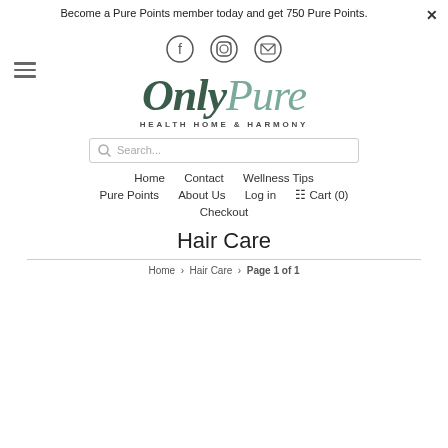Become a Pure Points member today and get 750 Pure Points.
[Figure (other): Social media icons: Facebook, Instagram, Email in circles]
[Figure (logo): OnlyPure logo with tagline HEALTH HOME & HARMONY]
Search...
Home
Contact
Wellness Tips
Pure Points
About Us
Log in
Cart (0)
Checkout
Hair Care
Home > Hair Care > Page 1 of 1